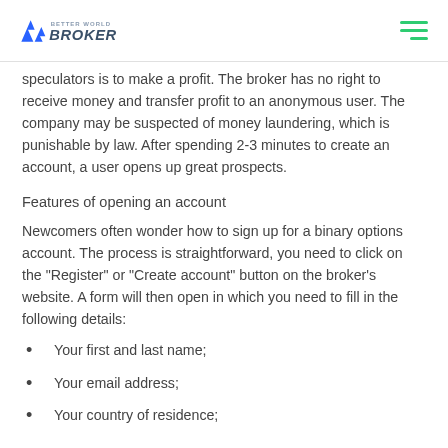Better World Broker
speculators is to make a profit. The broker has no right to receive money and transfer profit to an anonymous user. The company may be suspected of money laundering, which is punishable by law. After spending 2-3 minutes to create an account, a user opens up great prospects.
Features of opening an account
Newcomers often wonder how to sign up for a binary options account. The process is straightforward, you need to click on the "Register" or "Create account" button on the broker's website. A form will then open in which you need to fill in the following details:
Your first and last name;
Your email address;
Your country of residence;